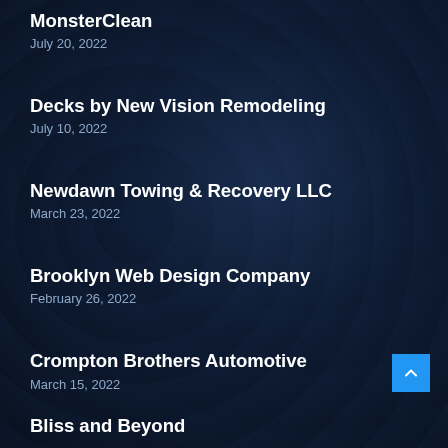MonsterClean
July 20, 2022
Decks by New Vision Remodeling
July 10, 2022
Newdawn Towing & Recovery LLC
March 23, 2022
Brooklyn Web Design Company
February 26, 2022
Crompton Brothers Automotive
March 15, 2022
Bliss and Beyond